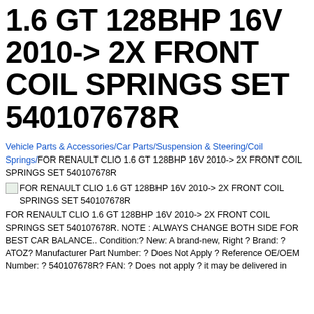1.6 GT 128BHP 16V 2010-> 2X FRONT COIL SPRINGS SET 540107678R
Vehicle Parts & Accessories/Car Parts/Suspension & Steering/Coil Springs/FOR RENAULT CLIO 1.6 GT 128BHP 16V 2010-> 2X FRONT COIL SPRINGS SET 540107678R
[image] FOR RENAULT CLIO 1.6 GT 128BHP 16V 2010-> 2X FRONT COIL SPRINGS SET 540107678R
FOR RENAULT CLIO 1.6 GT 128BHP 16V 2010-> 2X FRONT COIL SPRINGS SET 540107678R. NOTE : ALWAYS CHANGE BOTH SIDE FOR BEST CAR BALANCE.. Condition:? New: A brand-new, Right ? Brand: ? ATOZ? Manufacturer Part Number: ? Does Not Apply ? Reference OE/OEM Number: ? 540107678R? FAN: ? Does not apply ? it may be delivered in